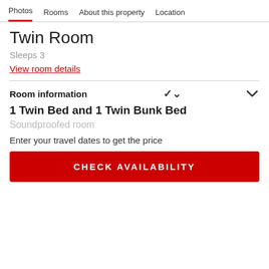Photos   Rooms   About this property   Location
Twin Room
Sleeps 3
View room details
Room information
1 Twin Bed and 1 Twin Bunk Bed
Soundproofed room
Enter your travel dates to get the price
CHECK AVAILABILITY